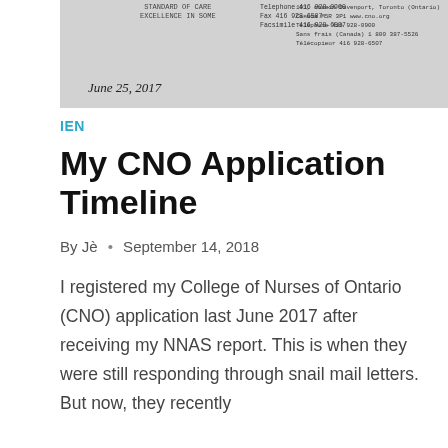[Figure (photo): Scanned letter from College of Nurses of Ontario (CNO) dated June 25, 2017, showing letterhead with CNO logo and contact information including address in Toronto, Ontario, telephone and fax numbers, and website www.cno.org]
IEN
My CNO Application Timeline
By Jè • September 14, 2018
I registered my College of Nurses of Ontario (CNO) application last June 2017 after receiving my NNAS report. This is when they were still responding through snail mail letters. But now, they recently